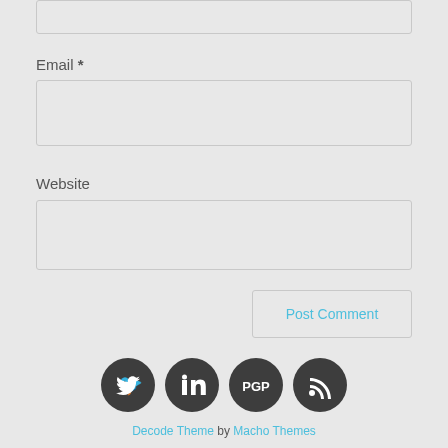[Figure (screenshot): Partial text input box cropped at top of page]
Email *
[Figure (screenshot): Email text input field]
Website
[Figure (screenshot): Website text input field]
[Figure (screenshot): Post Comment button]
[Figure (infographic): Four social media icons: Twitter, LinkedIn, PGP, RSS — dark circular buttons]
Decode Theme by Macho Themes